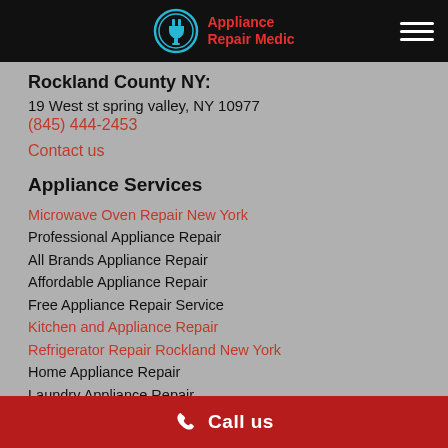Appliance Repair Medic
Rockland County NY:
19 West st spring valley, NY 10977
(845) 444-2453
Contact us
Appliance Services
Microwave Oven Repair New York
Professional Appliance Repair
All Brands Appliance Repair
Affordable Appliance Repair
Free Appliance Repair Service
Kitchen and Appliance Repair
Refrigerator Repair Rockland New York
Home Appliance Repair
Laundry Appliance Repair
Gas Range Repair service
Call us